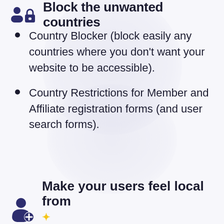Block the unwanted countries
Country Blocker (block easily any countries where you don't want your website to be accessible).
Country Restrictions for Member and Affiliate registration forms (and user search forms).
Make your users feel local from